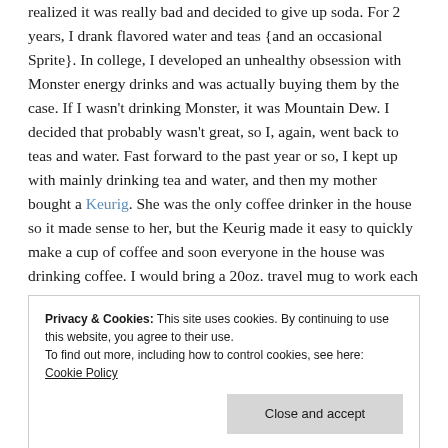realized it was really bad and decided to give up soda. For 2 years, I drank flavored water and teas {and an occasional Sprite}. In college, I developed an unhealthy obsession with Monster energy drinks and was actually buying them by the case. If I wasn't drinking Monster, it was Mountain Dew. I decided that probably wasn't great, so I, again, went back to teas and water. Fast forward to the past year or so, I kept up with mainly drinking tea and water, and then my mother bought a Keurig. She was the only coffee drinker in the house so it made sense to her, but the Keurig made it easy to quickly make a cup of coffee and soon everyone in the house was drinking coffee. I would bring a 20oz. travel mug to work each day and on the weekends I'd have at least 2 cups a day.
Privacy & Cookies: This site uses cookies. By continuing to use this website, you agree to their use. To find out more, including how to control cookies, see here: Cookie Policy